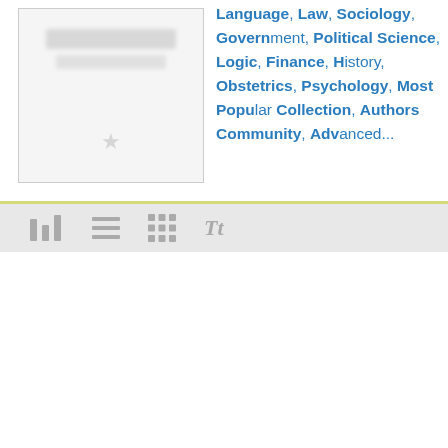[Figure (illustration): Blurred book cover thumbnail in a bordered box]
Language, Law, Sociology, Government, Political Science, Logic, Finance, History, Obstetrics, Psychology, Most Popular Collection, Authors Community, Advanced...
[Figure (screenshot): Toolbar with view-mode icons: bar chart icon, list icon, grid icon, and Tt font icon]